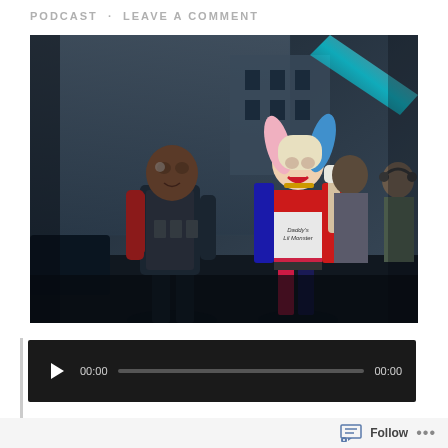PODCAST · LEAVE A COMMENT
[Figure (photo): Movie still showing two characters from Suicide Squad: Deadshot (Will Smith) in tactical black and red armor on the left, and Harley Quinn (Margot Robbie) in her iconic costume with blue and pink pigtails on the right, walking together outdoors near a building.]
[Figure (screenshot): Audio podcast player with dark background showing play button, 00:00 current time, progress bar, and 00:00 total duration.]
Follow   ...